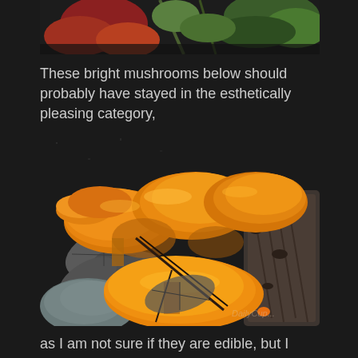[Figure (photo): Partial top image showing colorful autumn leaves and plants on dark background]
These bright mushrooms below should probably have stayed in the esthetically pleasing category,
[Figure (photo): Close-up photograph of bright orange/yellow chanterelle mushrooms growing among dead leaves and rocks on dark ground, with a watermark visible in lower right]
as I am not sure if they are edible, but I want to think they are... I'd like to join the local mycological society to